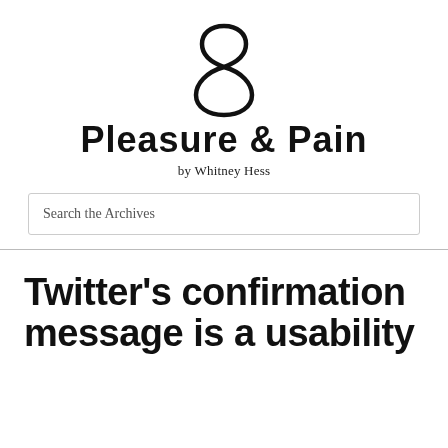[Figure (logo): Decorative ampersand/infinity-like logo symbol in black]
Pleasure & Pain
by Whitney Hess
Search the Archives
Twitter's confirmation message is a usability